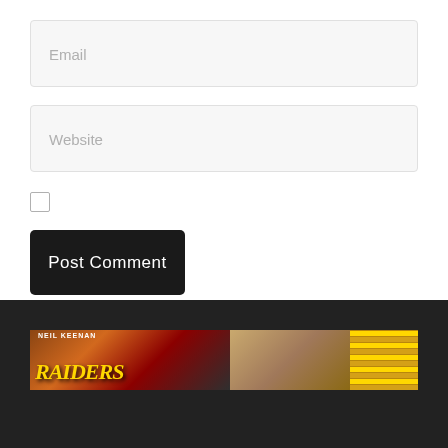Email
Website
Post Comment
[Figure (screenshot): A banner image showing 'NEIL KEENAN RAIDERS' logo with gold bars and other imagery on a dark background]